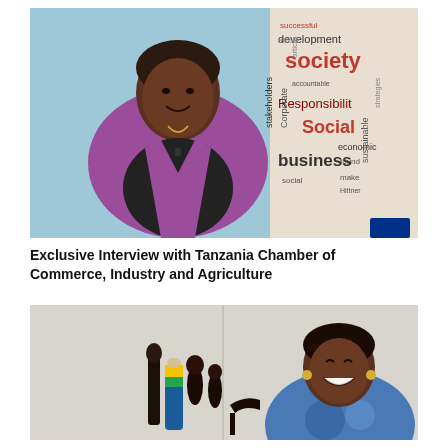[Figure (photo): A woman in a purple blazer and black top sitting in front of a word cloud background. The word cloud includes terms like 'society', 'development', 'Corporate', 'business', 'Social', 'Responsibility', 'sustainable', 'economic', 'stakeholders', 'accountable'.]
Exclusive Interview with Tanzania Chamber of Commerce, Industry and Agriculture
[Figure (photo): A smiling woman in a patterned top sitting in front of decorative figurines including Tanzanian-themed items and bird sculptures on a shelf behind her.]